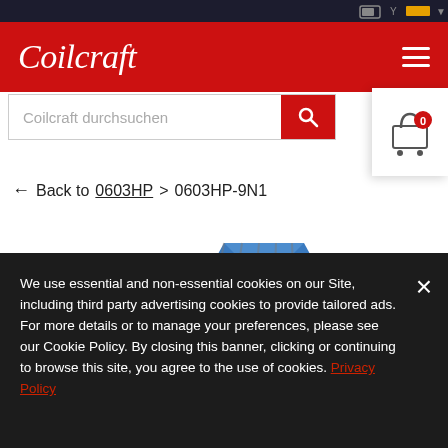Coilcraft
[Figure (screenshot): Search bar with placeholder text 'Coilcraft durchsuchen' and red search button with magnifying glass icon]
[Figure (illustration): Shopping cart icon with red badge showing '0']
← Back to 0603HP > 0603HP-9N1
[Figure (photo): Blue and black electronic component (inductor/coil) on white background, partially visible]
We use essential and non-essential cookies on our Site, including third party advertising cookies to provide tailored ads. For more details or to manage your preferences, please see our Cookie Policy. By closing this banner, clicking or continuing to browse this site, you agree to the use of cookies. Privacy Policy